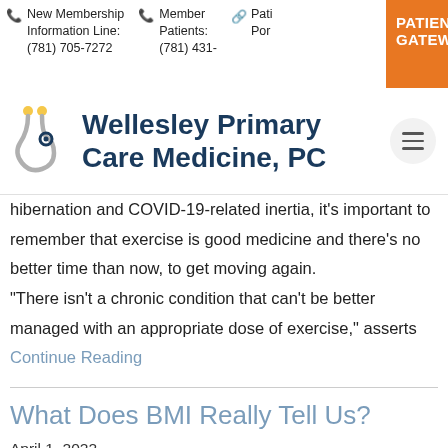New Membership Information Line: (781) 705-7272 | Member Patients: (781) 431- | Pati Por | PATIENT GATEWA
[Figure (logo): Wellesley Primary Care Medicine, PC logo with stethoscope icon]
hibernation and COVID-19-related inertia, it’s important to remember that exercise is good medicine and there’s no better time than now, to get moving again.
“There isn’t a chronic condition that can’t be better managed with an appropriate dose of exercise,” asserts Continue Reading
What Does BMI Really Tell Us?
April 1, 2022